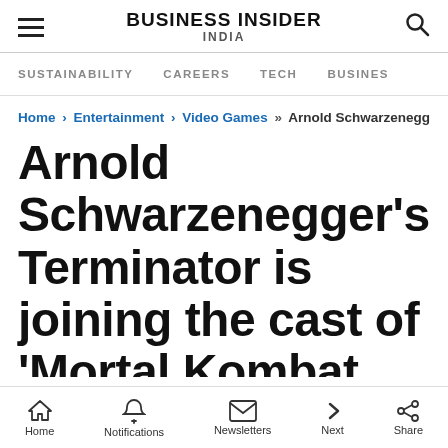BUSINESS INSIDER INDIA
SUSTAINABILITY   CAREERS   TECH   BUSINESS
Home › Entertainment › Video Games »» Arnold Schwarzenegg
Arnold Schwarzenegger's Terminator is joining the cast of 'Mortal Kombat 11' along with the Joker and Spawn
Home   Notifications   Newsletters   Next   Share